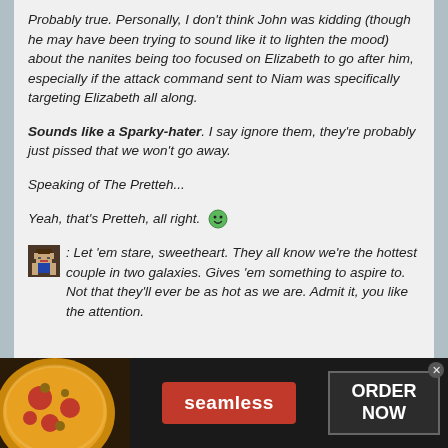Probably true. Personally, I don't think John was kidding (though he may have been trying to sound like it to lighten the mood) about the nanites being too focused on Elizabeth to go after him, especially if the attack command sent to Niam was specifically targeting Elizabeth all along.
Sounds like a Sparky-hater. I say ignore them, they're probably just pissed that we won't go away.
Speaking of The Pretteh...
Yeah, that's Pretteh, all right. 😀
[avatar icon]: Let 'em stare, sweetheart. They all know we're the hottest couple in two galaxies. Gives 'em something to aspire to. Not that they'll ever be as hot as we are. Admit it, you like the attention.
[Figure (screenshot): Advertisement banner for Seamless food ordering service, showing pizza image on left, Seamless red button in center, and ORDER NOW button on right with close X button.]